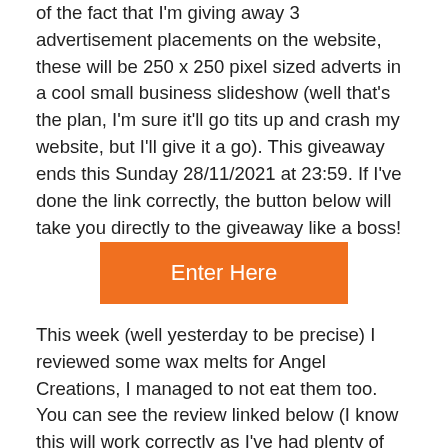of the fact that I'm giving away 3 advertisement placements on the website, these will be 250 x 250 pixel sized adverts in a cool small business slideshow (well that's the plan, I'm sure it'll go tits up and crash my website, but I'll give it a go). This giveaway ends this Sunday 28/11/2021 at 23:59. If I've done the link correctly, the button below will take you directly to the giveaway like a boss!
[Figure (other): Orange rectangular button labeled 'Enter Here']
This week (well yesterday to be precise) I reviewed some wax melts for Angel Creations, I managed to not eat them too. You can see the review linked below (I know this will work correctly as I've had plenty of practice now with this section) Not only that, but I've been doing some edits of some older reviews, making them cleaner, fresher, more